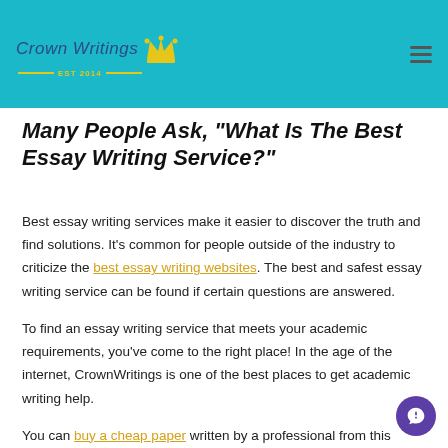Crown Writings EST 2014
Many People Ask, "What Is The Best Essay Writing Service?"
Best essay writing services make it easier to discover the truth and find solutions. It's common for people outside of the industry to criticize the best essay writing websites. The best and safest essay writing service can be found if certain questions are answered.
To find an essay writing service that meets your academic requirements, you've come to the right place! In the age of the internet, CrownWritings is one of the best places to get academic writing help.
You can buy a cheap paper written by a professional from this website. Every paper has a good chance of going through our